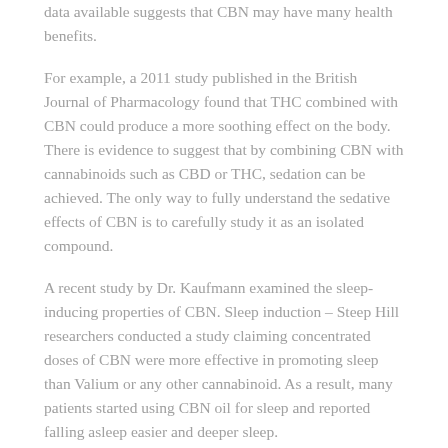data available suggests that CBN may have many health benefits.
For example, a 2011 study published in the British Journal of Pharmacology found that THC combined with CBN could produce a more soothing effect on the body. There is evidence to suggest that by combining CBN with cannabinoids such as CBD or THC, sedation can be achieved. The only way to fully understand the sedative effects of CBN is to carefully study it as an isolated compound.
A recent study by Dr. Kaufmann examined the sleep-inducing properties of CBN. Sleep induction – Steep Hill researchers conducted a study claiming concentrated doses of CBN were more effective in promoting sleep than Valium or any other cannabinoid. As a result, many patients started using CBN oil for sleep and reported falling asleep easier and deeper sleep.